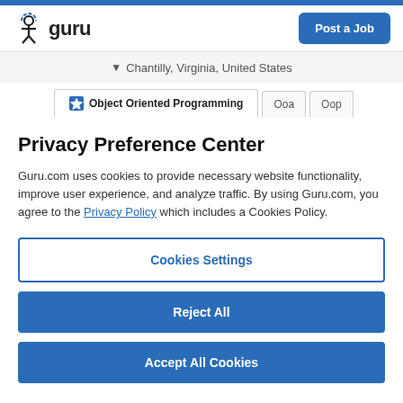guru — Post a Job
Chantilly, Virginia, United States
Object Oriented Programming | Ooa | Oop
Privacy Preference Center
Guru.com uses cookies to provide necessary website functionality, improve user experience, and analyze traffic. By using Guru.com, you agree to the Privacy Policy which includes a Cookies Policy.
Cookies Settings
Reject All
Accept All Cookies